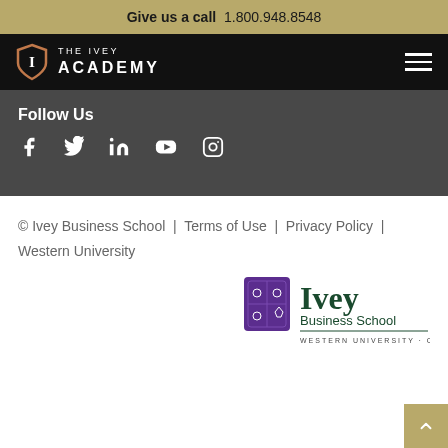Give us a call  1.800.948.8548
[Figure (logo): The Ivey Academy logo with shield icon and hamburger menu on black nav bar]
Follow Us
[Figure (infographic): Social media icons: Facebook, Twitter, LinkedIn, YouTube, Instagram]
© Ivey Business School  |  Terms of Use  |  Privacy Policy  |  Western University
[Figure (logo): Ivey Business School logo with Western University Canada text and purple crest]